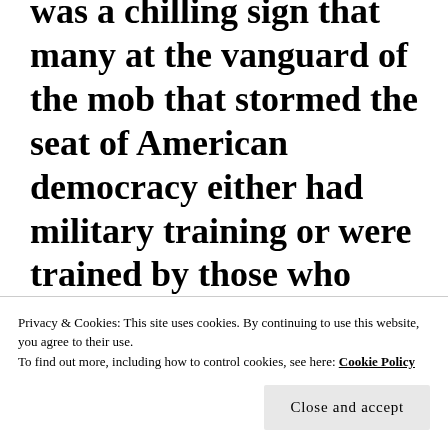was a chilling sign that many at the vanguard of the mob that stormed the seat of American democracy either had military training or were trained by those who did.
Privacy & Cookies: This site uses cookies. By continuing to use this website, you agree to their use.
To find out more, including how to control cookies, see here: Cookie Policy